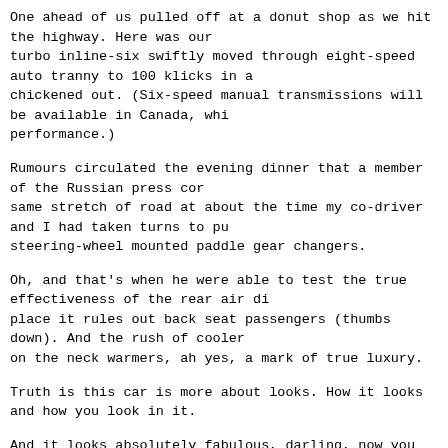One ahead of us pulled off at a donut shop as we hit the highway. Here was our turbo inline-six swiftly moved through eight-speed auto tranny to 100 klicks in a chickened out. (Six-speed manual transmissions will be available in Canada, whi performance.)
Rumours circulated the evening dinner that a member of the Russian press cor same stretch of road at about the time my co-driver and I had taken turns to pu steering-wheel mounted paddle gear changers.
Oh, and that's when he were able to test the true effectiveness of the rear air di place it rules out back seat passengers (thumbs down). And the rush of cooler on the neck warmers, ah yes, a mark of true luxury.
Truth is this car is more about looks. How it looks and how you look in it.
And it looks absolutely fabulous, darling, now you ask. Can't speak for myself.
It is simple elegant in profile but a scowling front gives it beastly pretensions. T hiding place in the trunk in 20 seconds. We were told it could even be raised in want to?
When that top is in place it truly looks like a coupe. Cool but even cooler when y